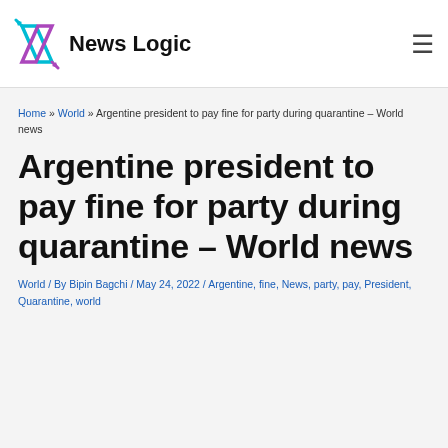News Logic
Home » World » Argentine president to pay fine for party during quarantine – World news
Argentine president to pay fine for party during quarantine – World news
World / By Bipin Bagchi / May 24, 2022 / Argentine, fine, News, party, pay, President, Quarantine, world